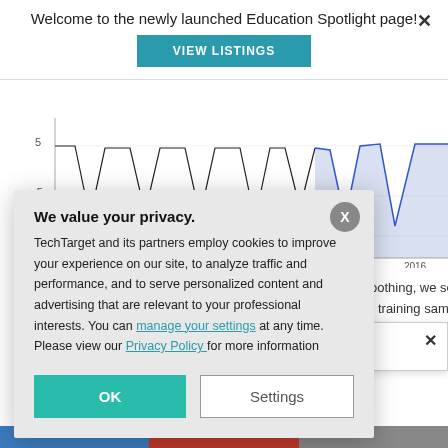Welcome to the newly launched Education Spotlight page!
VIEW LISTINGS
[Figure (continuous-plot): Partial time-series line chart visible in background showing values between approximately -10 and 5 on the y-axis, with x-axis years 2008, 2010, 2012, 2014, 2016. Blue shaded region visible at right side (2014-2016).]
oothing, we see that r training samples, as
SC Members
We value your privacy.
TechTarget and its partners employ cookies to improve your experience on our site, to analyze traffic and performance, and to serve personalized content and advertising that are relevant to your professional interests. You can manage your settings at any time. Please view our Privacy Policy for more information
OK
Settings